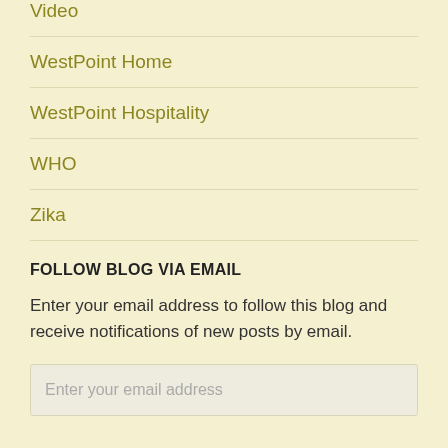Video
WestPoint Home
WestPoint Hospitality
WHO
Zika
FOLLOW BLOG VIA EMAIL
Enter your email address to follow this blog and receive notifications of new posts by email.
Enter your email address